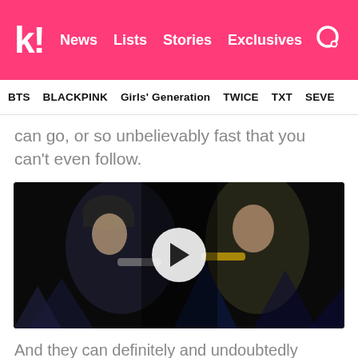k! News  Lists  Stories  Exclusives
BTS  BLACKPINK  Girls' Generation  TWICE  TXT  SEVE
can go, or so unbelievably fast that you can't even follow.
[Figure (photo): Video player showing two BTS members performing on stage with microphones, dark background with stage lights, white circular play button overlay in center]
And they can definitely and undoubtedly dance.
[Figure (photo): Bottom strip of an image showing blue-tinted forest/trees scene]